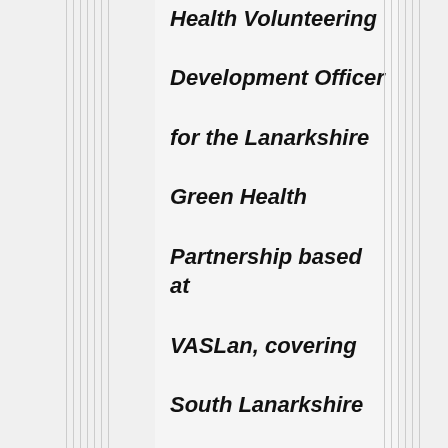Health Volunteering Development Officer for the Lanarkshire Green Health Partnership based at VASLan, covering South Lanarkshire
The Green Health Partnership was formed in April 2018 and has been working to connect health and social care with nature, encouraging people to use the outdoors as “our Natural